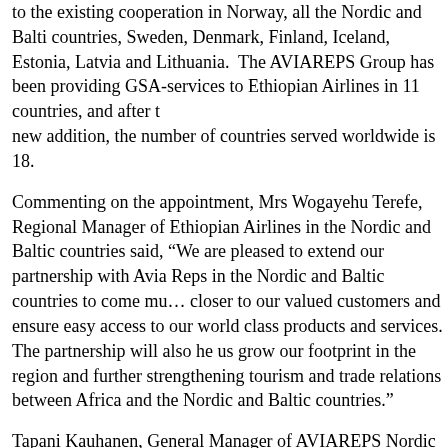to the existing cooperation in Norway, all the Nordic and Baltic countries, Sweden, Denmark, Finland, Iceland, Estonia, Latvia and Lithuania. The AVIAREPS Group has been providing GSA-services to Ethiopian Airlines in 11 countries, and after the new addition, the number of countries served worldwide is 18.
Commenting on the appointment, Mrs Wogayehu Terefe, Regional Manager of Ethiopian Airlines in the Nordic and Baltic countries said, “We are pleased to extend our partnership with Avia Reps in the Nordic and Baltic countries to come much closer to our valued customers and ensure easy access to our world class products and services. The partnership will also help us grow our footprint in the region and further strengthening tourism and trade relations between Africa and the Nordic and Baltic countries.”
Tapani Kauhanen, General Manager of AVIAREPS Nordic and Baltic countries, said: “Our appointment by Ethiopian Airlines is a confirmation of our longstanding commitment to ensuring the airline’s success as a major player in our local markets. With direct flights from Stockholm and Oslo to Addis Ababa, Ethiopian Airlines brings the fantastic – and increasingly popular – destinations of Africa closer to us. The business